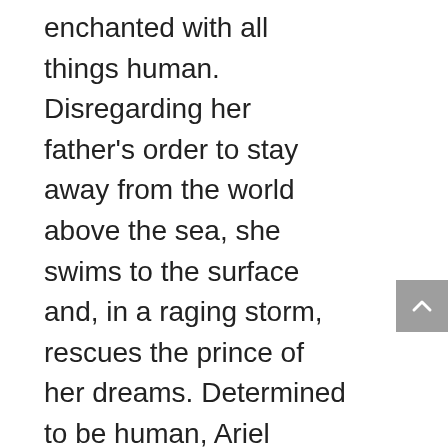enchanted with all things human. Disregarding her father's order to stay away from the world above the sea, she swims to the surface and, in a raging storm, rescues the prince of her dreams. Determined to be human, Ariel strikes a bargain with the devious sea witch Ursula (voice of Pat Carroll), trading her fins and beautiful voice for legs. With her best friend Flounder (voice of Jason Marin), misguided seagull Scuttle (voice of Buddy Hackett) and the calypso-singing Caribbean crab chaperone Sebastian (voice of Samuel E. Wright) at her side,